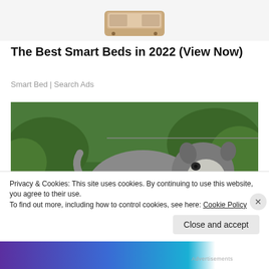[Figure (photo): Partial view of a bed/furniture product image at the top, cropped]
The Best Smart Beds in 2022 (View Now)
Smart Bed | Search Ads
[Figure (photo): A stocky grey and white bull-type dog standing on grass with green foliage in the background, mouth open]
Privacy & Cookies: This site uses cookies. By continuing to use this website, you agree to their use.
To find out more, including how to control cookies, see here: Cookie Policy
Close and accept